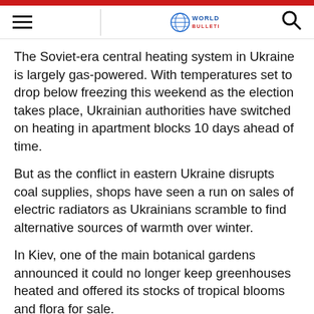World Bulletin
The Soviet-era central heating system in Ukraine is largely gas-powered. With temperatures set to drop below freezing this weekend as the election takes place, Ukrainian authorities have switched on heating in apartment blocks 10 days ahead of time.
But as the conflict in eastern Ukraine disrupts coal supplies, shops have seen a run on sales of electric radiators as Ukrainians scramble to find alternative sources of warmth over winter.
In Kiev, one of the main botanical gardens announced it could no longer keep greenhouses heated and offered its stocks of tropical blooms and flora for sale.
This weekend, 61,000 police will be responsible for